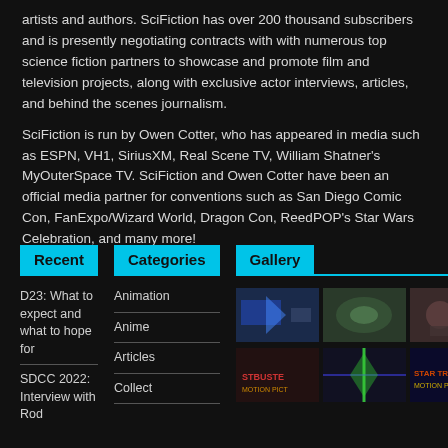artists and authors. SciFiction has over 200 thousand subscribers and is presently negotiating contracts with with numerous top science fiction partners to showcase and promote film and television projects, along with exclusive actor interviews, articles, and behind the scenes journalism.
SciFiction is run by Owen Cotter, who has appeared in media such as ESPN, VH1, SiriusXM, Real Scene TV, William Shatner's MyOuterSpace TV. SciFiction and Owen Cotter have been an official media partner for conventions such as San Diego Comic Con, FanExpo/Wizard World, Dragon Con, ReedPOP's Star Wars Celebration, and many more!
Recent
Categories
Gallery
D23: What to expect and what to hope for
SDCC 2022: Interview with Rod
Animation
Anime
Articles
Collect
[Figure (photo): Gallery thumbnails row 1: three sci-fi related images]
[Figure (photo): Gallery thumbnails row 2: Ghostbusters, sci-fi, Star Trek related images]